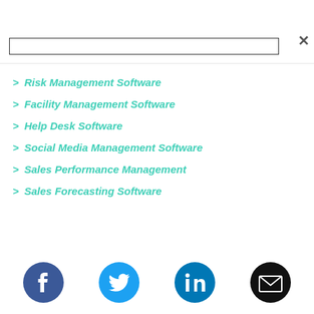Risk Management Software
Facility Management Software
Help Desk Software
Social Media Management Software
Sales Performance Management
Sales Forecasting Software
[Figure (other): Social media and email share icons: Facebook (blue circle), Twitter (light blue circle), LinkedIn (blue circle), Email (black circle)]